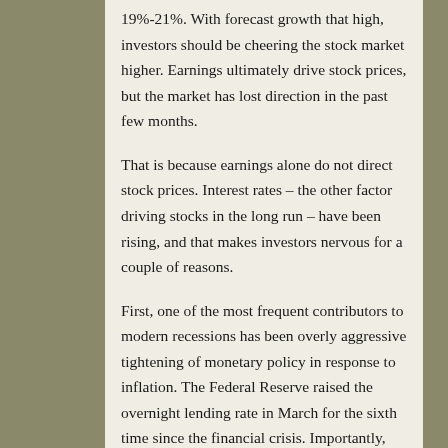19%-21%. With forecast growth that high, investors should be cheering the stock market higher. Earnings ultimately drive stock prices, but the market has lost direction in the past few months.
That is because earnings alone do not direct stock prices. Interest rates – the other factor driving stocks in the long run – have been rising, and that makes investors nervous for a couple of reasons.
First, one of the most frequent contributors to modern recessions has been overly aggressive tightening of monetary policy in response to inflation. The Federal Reserve raised the overnight lending rate in March for the sixth time since the financial crisis. Importantly, though, rate moves so far have been in response to normalization efforts rather than inflationary pressure.
Also, interest rates on relatively safe bonds serve as an important comparison against what investors might earn